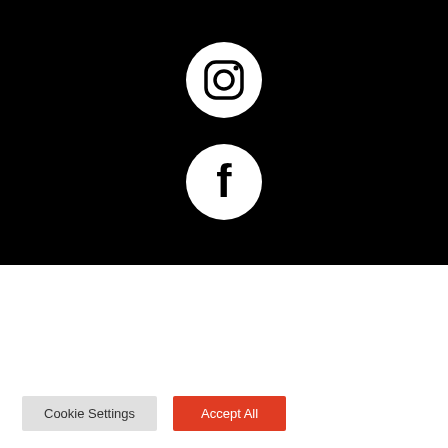[Figure (logo): Instagram logo - white circle with Instagram camera icon on black background]
[Figure (logo): Facebook logo - white circle with Facebook 'f' icon on black background]
We use cookies on our website to give you the most relevant experience by remembering your preferences and repeat visits. By clicking "Accept All", you consent to the use of ALL the cookies. However, you may visit "Cookie Settings" to provide a controlled consent.
Cookie Settings
Accept All